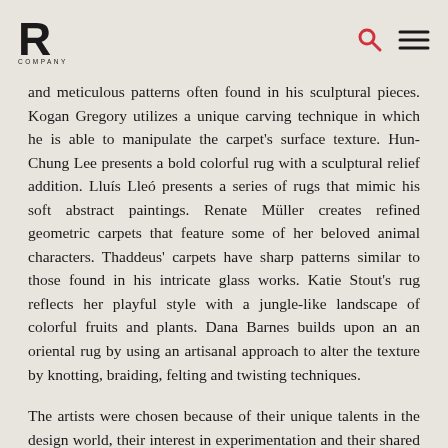R COMPANY [logo] [search icon] [menu icon]
and meticulous patterns often found in his sculptural pieces. Kogan Gregory utilizes a unique carving technique in which he is able to manipulate the carpet's surface texture. Hun-Chung Lee presents a bold colorful rug with a sculptural relief addition. Lluís Lleó presents a series of rugs that mimic his soft abstract paintings. Renate Müller creates refined geometric carpets that feature some of her beloved animal characters. Thaddeus' carpets have sharp patterns similar to those found in his intricate glass works. Katie Stout's rug reflects her playful style with a jungle-like landscape of colorful fruits and plants. Dana Barnes builds upon an an oriental rug by using an artisanal approach to alter the texture by knotting, braiding, felting and twisting techniques.
The artists were chosen because of their unique talents in the design world, their interest in experimentation and their shared interest in exploring hand made objects from international designers. The carpets are unique one of a kind works that reflect the individual themes and styles seen in each designers' furniture and objects.